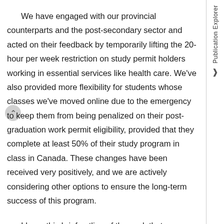We have engaged with our provincial counterparts and the post-secondary sector and acted on their feedback by temporarily lifting the 20-hour per week restriction on study permit holders working in essential services like health care. We've also provided more flexibility for students whose classes we've moved online due to the emergency to keep them from being penalized on their post-graduation work permit eligibility, provided that they complete at least 50% of their study program in class in Canada. These changes have been received very positively, and we are actively considering other options to ensure the long-term success of this program.
I hope this brief outline of the work that my department has been engaged in as part of the response to COVID-19